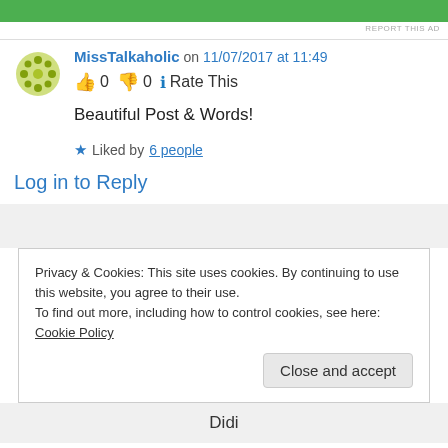[Figure (other): Green advertisement banner at top of page]
REPORT THIS AD
MissTalkaholic on 11/07/2017 at 11:49
👍 0 👎 0 ℹ Rate This
Beautiful Post & Words!
★ Liked by 6 people
Log in to Reply
Privacy & Cookies: This site uses cookies. By continuing to use this website, you agree to their use.
To find out more, including how to control cookies, see here: Cookie Policy
Close and accept
Didi